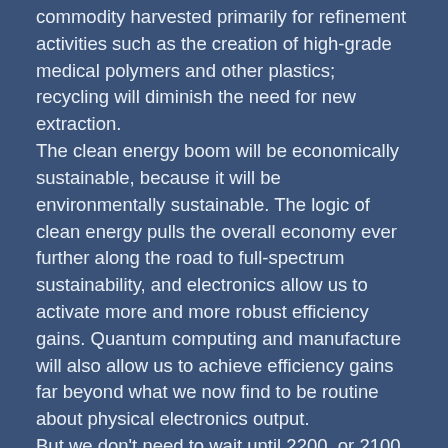commodity harvested primarily for refinement activities such as the creation of high-grade medical polymers and other plastics; recycling will diminish the need for new extraction.
The clean energy boom will be economically sustainable, because it will be environmentally sustainable. The logic of clean energy pulls the overall economy ever further along the road to full-spectrum sustainability, and electronics allow us to activate more and more robust efficiency gains. Quantum computing and manufacture will also allow us to achieve efficiency gains far beyond what we now find to be routine about physical electronics output.
But we don't need to wait until 2200, or 2100 for that matter. As of 2000...